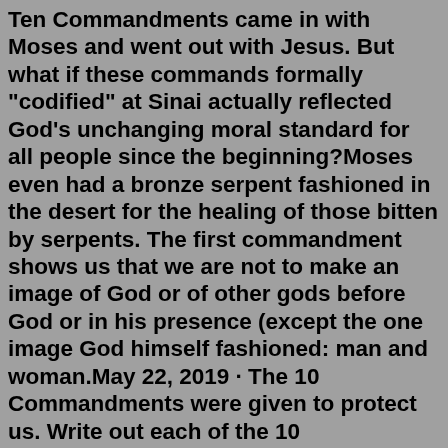Ten Commandments came in with Moses and went out with Jesus. But what if these commands formally "codified" at Sinai actually reflected God's unchanging moral standard for all people since the beginning?Moses even had a bronze serpent fashioned in the desert for the healing of those bitten by serpents. The first commandment shows us that we are not to make an image of God or of other gods before God or in his presence (except the one image God himself fashioned: man and woman.May 22, 2019 · The 10 Commandments were given to protect us. Write out each of the 10 Commandments with your kids using language they can understand (Exodus 20:1-17). For example: Have no other gods but God. Do not worship statues. Be careful with God's name. Keep the Sabbath day special. Honor your father and mother. Do not murder. This is a Brazilian production based on Moses' story.Oct 14, 2012 · God was there and no one was allowed to look on Him. God gave Moses the rules He wanted the people to follow. They are called the 10...